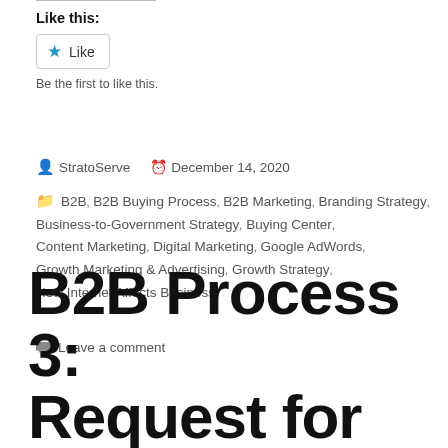Like this:
★ Like
Be the first to like this.
StratoServe   December 14, 2020
B2B, B2B Buying Process, B2B Marketing, Branding Strategy, Business-to-Government Strategy, Buying Center, Content Marketing, Digital Marketing, Google AdWords, Growth Marketing & Advertising, Growth Strategy, How Internet Affects Business
Leave a comment
B2B Process 3: Request for